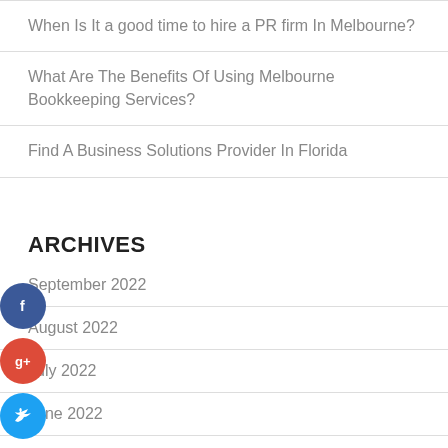When Is It a good time to hire a PR firm In Melbourne?
What Are The Benefits Of Using Melbourne Bookkeeping Services?
Find A Business Solutions Provider In Florida
ARCHIVES
September 2022
August 2022
July 2022
June 2022